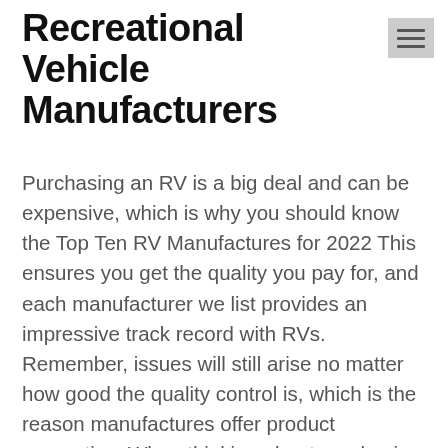Recreational Vehicle Manufacturers
Purchasing an RV is a big deal and can be expensive, which is why you should know the Top Ten RV Manufactures for 2022 This ensures you get the quality you pay for, and each manufacturer we list provides an impressive track record with RVs. Remember, issues will still arise no matter how good the quality control is, which is the reason manufactures offer product warranties. When thinking about purchasing an RV, you should always look at user reviews, and ask RV owners their honest opinions, and possibly do a walk-through prior to purchasing the RV you're looking at. When searching for a new or used RV the list below should assist y...